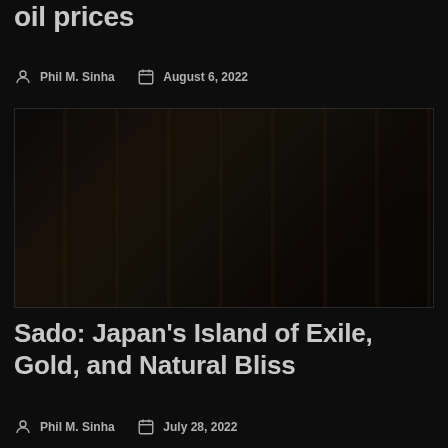oil prices
Phil M. Sinha   August 6, 2022
[Figure (photo): Dark interior photograph, possibly a restaurant or bar setting with shelves and objects, very low lighting]
Sado: Japan's Island of Exile, Gold, and Natural Bliss
Phil M. Sinha   July 28, 2022